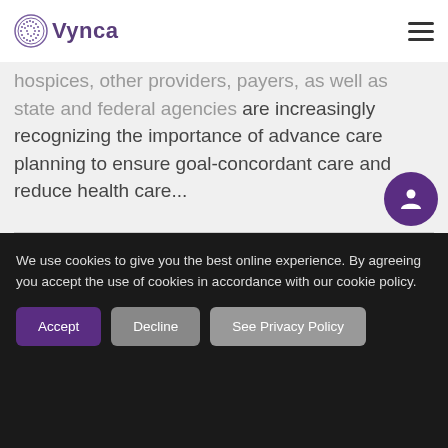Vynca
hospices, other providers, payers, as well as state and federal agencies are increasingly recognizing the importance of advance care planning to ensure goal-concordant care and reduce health care...
Read More
We use cookies to give you the best online experience. By agreeing you accept the use of cookies in accordance with our cookie policy.
Accept
Decline
See Privacy Policy